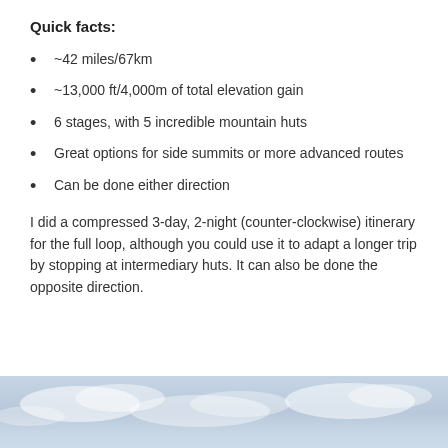Quick facts:
~42 miles/67km
~13,000 ft/4,000m of total elevation gain
6 stages, with 5 incredible mountain huts
Great options for side summits or more advanced routes
Can be done either direction
I did a compressed 3-day, 2-night (counter-clockwise) itinerary for the full loop, although you could use it to adapt a longer trip by stopping at intermediary huts. It can also be done the opposite direction.
[Figure (photo): Sky and clouds photo strip at the bottom of the page]